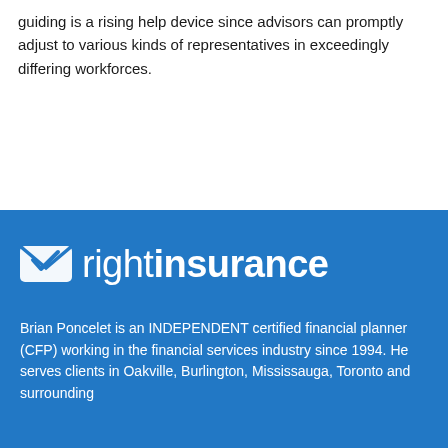guiding is a rising help device since advisors can promptly adjust to various kinds of representatives in exceedingly differing workforces.
[Figure (logo): Right Insurance logo: a blue envelope/checkmark icon followed by the wordmark 'rightinsurance' in white on blue background, with 'right' in light weight and 'insurance' in bold]
Brian Poncelet is an INDEPENDENT certified financial planner (CFP) working in the financial services industry since 1994. He serves clients in Oakville, Burlington, Mississauga, Toronto and surrounding